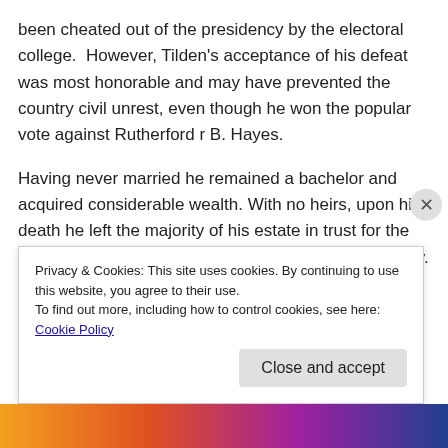been cheated out of the presidency by the electoral college.  However, Tilden's acceptance of his defeat was most honorable and may have prevented the country civil unrest, even though he won the popular vote against Rutherford r B. Hayes.
Having never married he remained a bachelor and acquired considerable wealth. With no heirs, upon his death he left the majority of his estate in trust for the establishment of a free public library for New York City. This bequest eventually helped build the New York City Library in Manhattan.
Privacy & Cookies: This site uses cookies. By continuing to use this website, you agree to their use.
To find out more, including how to control cookies, see here: Cookie Policy